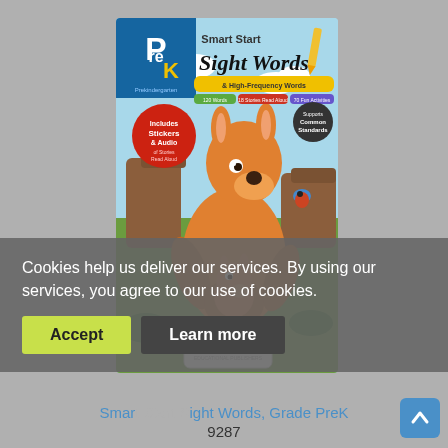[Figure (illustration): Book cover for 'Smart Start Sight Words & High-Frequency Words, Grade PreK' by Evan-Moor. Features a cartoon kangaroo and baby kangaroo in a colorful outdoor scene. Includes badges: 'Includes Stickers & Audio of Stories Read Aloud', '120 Words', '18 Stories Read Aloud', '70 Fun Activities', 'Supports Common Core Standards'. Published by Evan-Moor Educational Publishers.]
Cookies help us deliver our services. By using our services, you agree to our use of cookies.
Accept
Learn more
Smart Start Sight Words, Grade PreK
9287